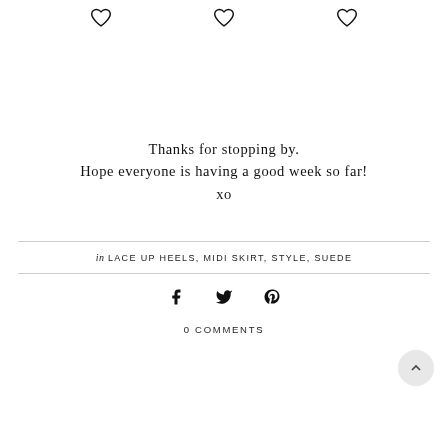[Figure (illustration): Three heart outline icons arranged in a row at the top of the page]
Thanks for stopping by.
Hope everyone is having a good week so far!
xo
in LACE UP HEELS, MIDI SKIRT, STYLE, SUEDE
[Figure (illustration): Social sharing icons: Facebook, Twitter, Pinterest]
[Figure (illustration): Back to top button - circular grey button with upward chevron]
0 COMMENTS